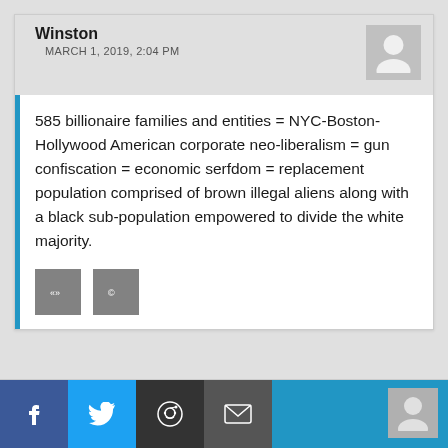Winston
MARCH 1, 2019, 2:04 PM
585 billionaire families and entities = NYC-Boston-Hollywood American corporate neo-liberalism = gun confiscation = economic serfdom = replacement population comprised of brown illegal aliens along with a black sub-population empowered to divide the white majority.